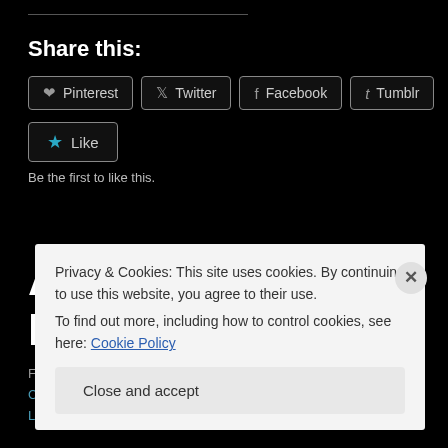Share this:
Pinterest | Twitter | Facebook | Tumblr
Like
Be the first to like this.
Australia, the Barossa Valley
February 21, 2015 in Australia and tagged Australia, Barossa Valley, Canon, Digital, Landscape, Photography, scenic, Vineyard, Winery | Leave a comment
Privacy & Cookies: This site uses cookies. By continuing to use this website, you agree to their use.
To find out more, including how to control cookies, see here: Cookie Policy
Close and accept